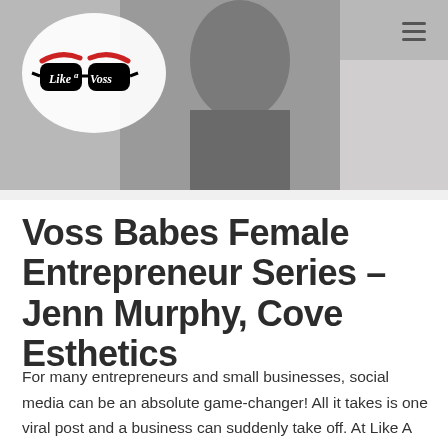[Figure (photo): Header photo of a person working at a desk, partially visible, with a 'Like A Voss' logo overlay in the top-left and a hamburger menu icon in the top-right.]
Voss Babes Female Entrepreneur Series – Jenn Murphy, Cove Esthetics
For many entrepreneurs and small businesses, social media can be an absolute game-changer! All it takes is one viral post and a business can suddenly take off. At Like A Voss Social Media, we're highlighting local businesses and entrepreneurs who are killing the online game. This week's spotlight is on Jenn Murphy, Owner of Cove …